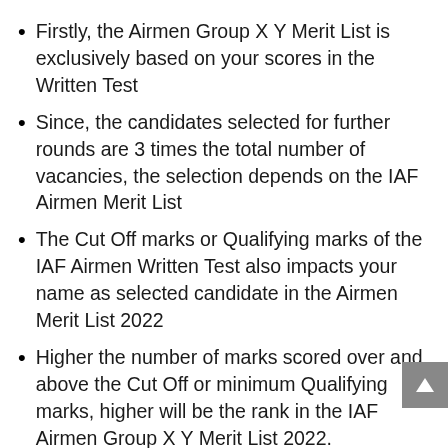Firstly, the Airmen Group X Y Merit List is exclusively based on your scores in the Written Test
Since, the candidates selected for further rounds are 3 times the total number of vacancies, the selection depends on the IAF Airmen Merit List
The Cut Off marks or Qualifying marks of the IAF Airmen Written Test also impacts your name as selected candidate in the Airmen Merit List 2022
Higher the number of marks scored over and above the Cut Off or minimum Qualifying marks, higher will be the rank in the IAF Airmen Group X Y Merit List 2022.